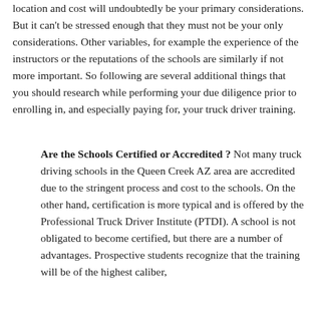location and cost will undoubtedly be your primary considerations. But it can't be stressed enough that they must not be your only considerations. Other variables, for example the experience of the instructors or the reputations of the schools are similarly if not more important. So following are several additional things that you should research while performing your due diligence prior to enrolling in, and especially paying for, your truck driver training.
Are the Schools Certified or Accredited ? Not many truck driving schools in the Queen Creek AZ area are accredited due to the stringent process and cost to the schools. On the other hand, certification is more typical and is offered by the Professional Truck Driver Institute (PTDI). A school is not obligated to become certified, but there are a number of advantages. Prospective students recognize that the training will be of the highest caliber, and that there will be a rigorous set of hiring criteria. For